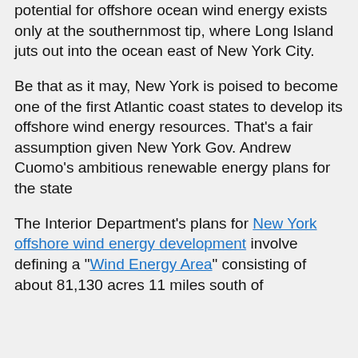potential for offshore ocean wind energy exists only at the southernmost tip, where Long Island juts out into the ocean east of New York City.
Be that as it may, New York is poised to become one of the first Atlantic coast states to develop its offshore wind energy resources. That's a fair assumption given New York Gov. Andrew Cuomo's ambitious renewable energy plans for the state
The Interior Department's plans for New York offshore wind energy development involve defining a "Wind Energy Area" consisting of about 81,130 acres 11 miles south of